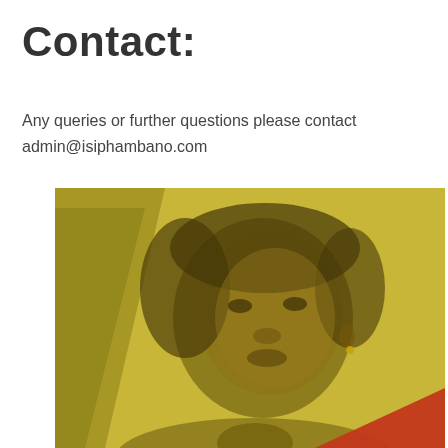Contact:
Any queries or further questions please contact admin@isiphambano.com
[Figure (photo): Portrait photo of a young woman with short hair, rendered with a golden/sepia tone overlay with a dark red triangular shape at the bottom right corner.]